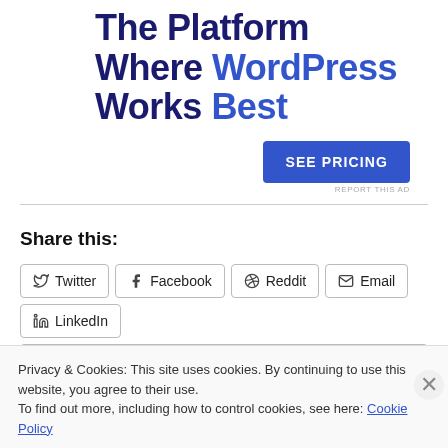The Platform Where WordPress Works Best
SEE PRICING
REPORT THIS AD
Share this:
Twitter
Facebook
Reddit
Email
LinkedIn
More
Privacy & Cookies: This site uses cookies. By continuing to use this website, you agree to their use.
To find out more, including how to control cookies, see here: Cookie Policy
Close and accept